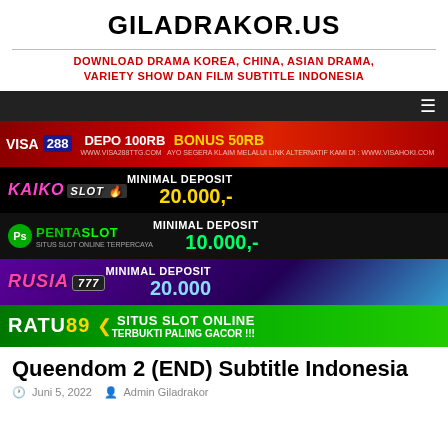GILADRAKOR.US
DOWNLOAD DRAMA KOREA, CHINA, ASIAN DRAMA, VARIETY SHOW DAN FILM SUBTITLE INDONESIA
[Figure (screenshot): Navigation bar with hamburger menu icon on dark background]
[Figure (infographic): Advertising banners: VISA288 DEPO 100RB BONUS 50RB; KAIKO SLOT MINIMAL DEPOSIT 20.000,-; PENTASLOT MINIMAL DEPOSIT 10.000,-; RUSIA 777 MINIMAL DEPOSIT 20,000; RATU89 SITUS SLOT ONLINE TERBUKTI PALING GACOR!!!]
Queendom 2 (END) Subtitle Indonesia
Juni 5, 2022  Admin Giladrakor